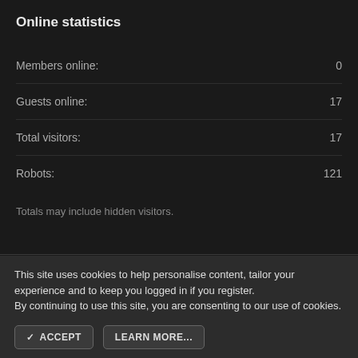Online statistics
| Stat | Value |
| --- | --- |
| Members online: | 0 |
| Guests online: | 17 |
| Total visitors: | 17 |
| Robots: | 121 |
Totals may include hidden visitors.
This site uses cookies to help personalise content, tailor your experience and to keep you logged in if you register.
By continuing to use this site, you are consenting to our use of cookies.